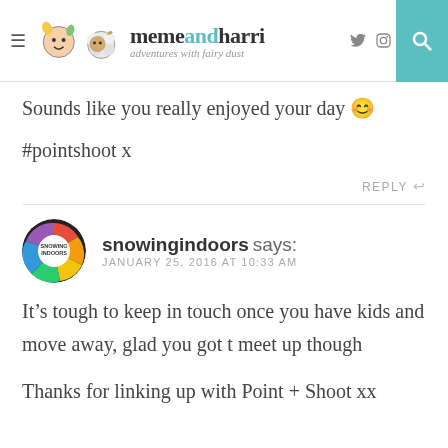memeandharri — adventures with fairy dust
Sounds like you really enjoyed your day 😊

#pointshoot x
REPLY →
snowingindoors says:
JANUARY 25, 2016 AT 10:33 AM
It's tough to keep in touch once you have kids and move away, glad you got t meet up though
Thanks for linking up with Point + Shoot xx